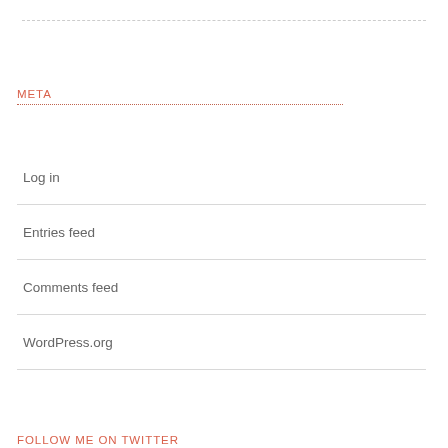META
Log in
Entries feed
Comments feed
WordPress.org
FOLLOW ME ON TWITTER